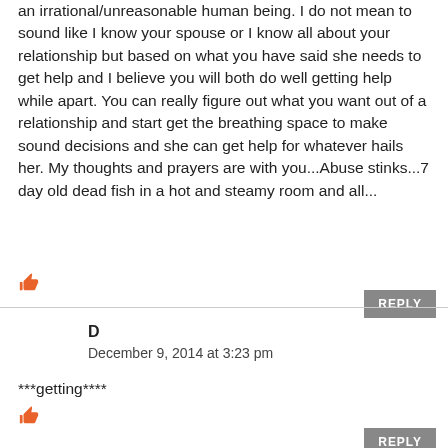an irrational/unreasonable human being. I do not mean to sound like I know your spouse or I know all about your relationship but based on what you have said she needs to get help and I believe you will both do well getting help while apart. You can really figure out what you want out of a relationship and start get the breathing space to make sound decisions and she can get help for whatever hails her. My thoughts and prayers are with you...Abuse stinks...7 day old dead fish in a hot and steamy room and all...
D
December 9, 2014 at 3:23 pm
***getting****